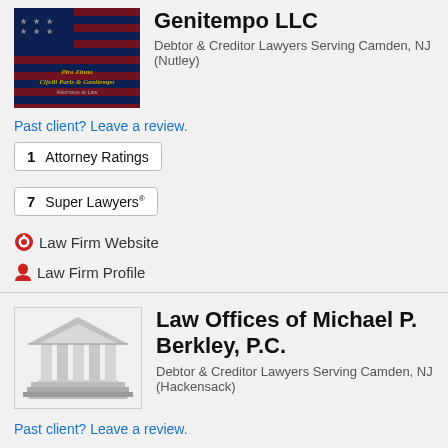[Figure (photo): Law firm photo with American flag background and firm name text overlay]
Genitempo LLC
Debtor & Creditor Lawyers Serving Camden, NJ (Nutley)
Past client? Leave a review.
1  Attorney Ratings
7  Super Lawyers®
Law Firm Website
Law Firm Profile
[Figure (illustration): Grey courthouse/law building icon illustration]
Law Offices of Michael P. Berkley, P.C.
Debtor & Creditor Lawyers Serving Camden, NJ (Hackensack)
Past client? Leave a review.